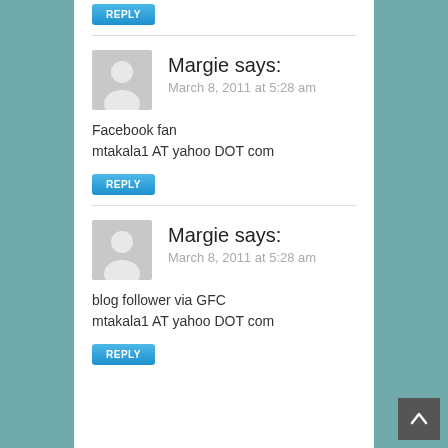REPLY
Margie says:
March 8, 2011 at 5:28 am
Facebook fan
mtakala1 AT yahoo DOT com
REPLY
Margie says:
March 8, 2011 at 5:28 am
blog follower via GFC
mtakala1 AT yahoo DOT com
REPLY